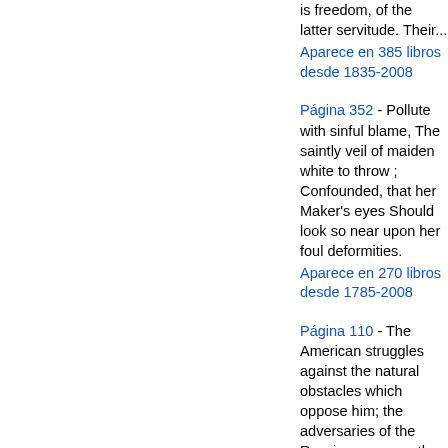is freedom, of the latter servitude. Their... Aparece en 385 libros desde 1835-2008
Página 352 - Pollute with sinful blame, The saintly veil of maiden white to throw ; Confounded, that her Maker's eyes Should look so near upon her foul deformities. Aparece en 270 libros desde 1785-2008
Página 110 - The American struggles against the natural obstacles which oppose him; the adversaries of the Russian are men; the former combats the wilderness and savage